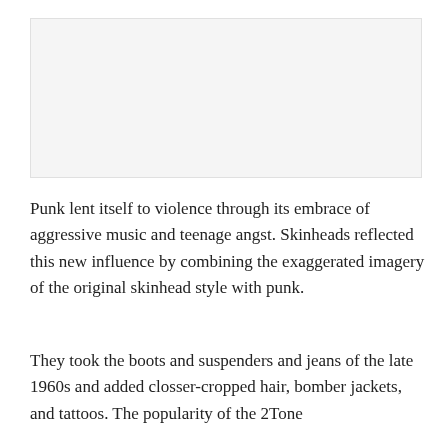[Figure (photo): Image placeholder at top of page]
Punk lent itself to violence through its embrace of aggressive music and teenage angst. Skinheads reflected this new influence by combining the exaggerated imagery of the original skinhead style with punk.
They took the boots and suspenders and jeans of the late 1960s and added closser-cropped hair, bomber jackets, and tattoos. The popularity of the 2Tone